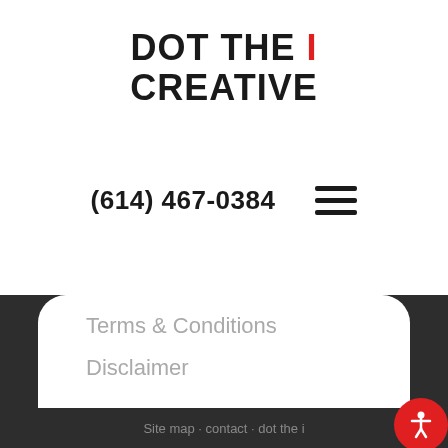DOT THE i CREATIVE
(614) 467-0384
Terms & Conditions
Disclaimer
[Figure (logo): W Enterprise Partner badge — black rectangle with stylized W logo and text 'Enterprise Partner']
Follow Us On Social:
[Figure (illustration): Social media icons: Facebook, Twitter, Instagram, LinkedIn — all in light gray]
Site map · contact · dot the i